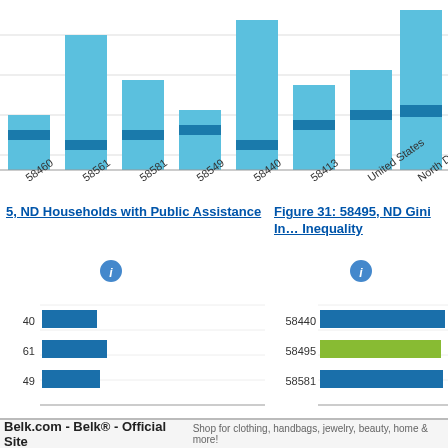[Figure (bar-chart): Median Household Income comparison]
5, ND Households with Public Assistance
Figure 31: 58495, ND Gini Inequality
[Figure (bar-chart): Households with Public Assistance]
[Figure (bar-chart): Gini Inequality]
[Figure (screenshot): Belk.com advertisement banner]